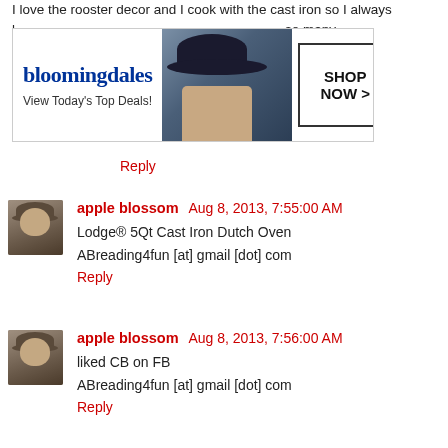I love the rooster decor and I cook with the cast iron so I always l... so many t... l that it is h...
[Figure (other): Bloomingdale's advertisement banner showing logo, 'View Today's Top Deals!' tagline, a woman in a wide-brim hat, and a 'SHOP NOW >' button]
Reply
apple blossom  Aug 8, 2013, 7:55:00 AM
Lodge® 5Qt Cast Iron Dutch Oven

ABreading4fun [at] gmail [dot] com
Reply
apple blossom  Aug 8, 2013, 7:56:00 AM
liked CB on FB

ABreading4fun [at] gmail [dot] com
Reply